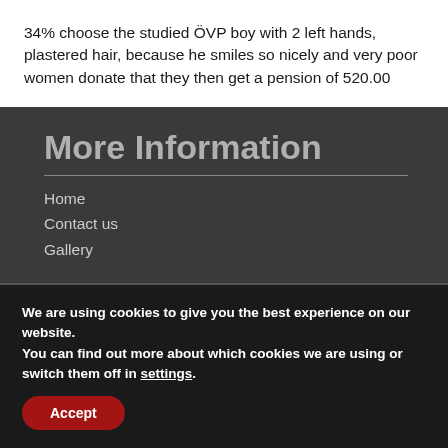34% choose the studied ÖVP boy with 2 left hands, plastered hair, because he smiles so nicely and very poor women donate that they then get a pension of 520.00
More Information
Home
Contact us
Gallery
Address
We are using cookies to give you the best experience on our website.
You can find out more about which cookies we are using or switch them off in settings.
Accept